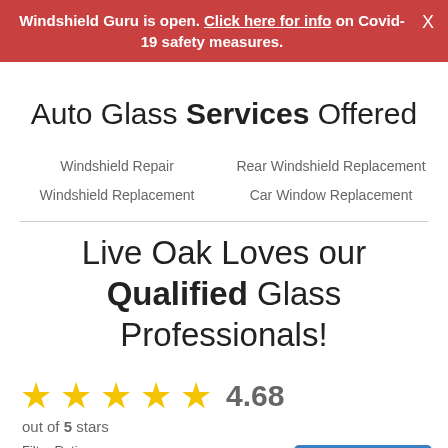Windshield Guru is open. Click here for info on Covid-19 safety measures.
Auto Glass Services Offered
Windshield Repair
Rear Windshield Replacement
Windshield Replacement
Car Window Replacement
Live Oak Loves our Qualified Glass Professionals!
★★★★★ 4.68
out of 5 stars
Filter Ratings - All Ratings
Write a Review